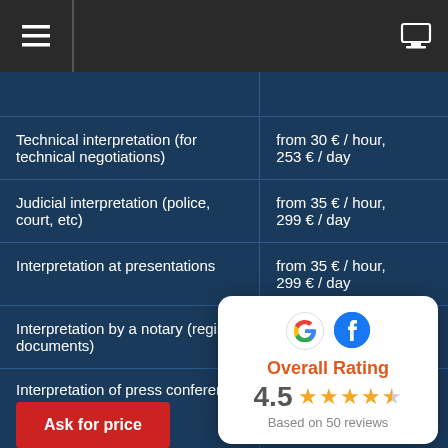Navigation bar with hamburger menu and monitor icon
| Service | Price |
| --- | --- |
| Technical interpretation (for technical negotiations) | from 30 € / hour, 253 € / day |
| Judicial interpretation (police, court, etc) | from 35 € / hour, 299 € / day |
| Interpretation at presentations | from 35 € / hour, 299 € / day |
| Interpretation by a notary (regis... documents) |  |
| Interpretation of press conferen... | Ask for price |
| Interpretation at a seminar, training (consecutive) | from 32 € / hour, 276 € / day |
[Figure (infographic): Overall Rating overlay card showing Google and Facebook icons, rating of 4.5 stars based on 50 reviews]